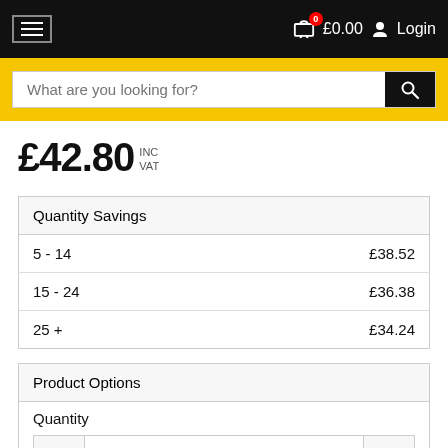Navigation bar with hamburger menu, cart icon with badge 0, £0.00, and Login
What are you looking for? [search bar]
£42.80 INC VAT
| Quantity Savings |  |
| --- | --- |
| 5 - 14 | £38.52 |
| 15 - 24 | £36.38 |
| 25 + | £34.24 |
| Product Options |  |
| --- | --- |
| Quantity |  |
| [stepper: − 1 +] |  |